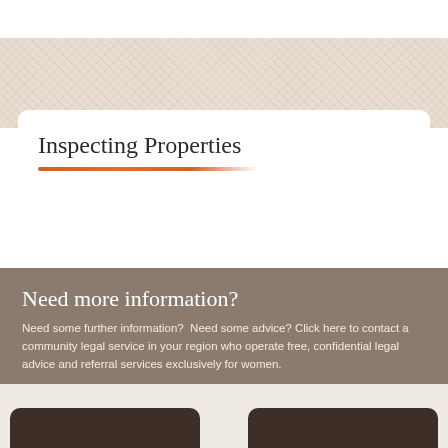Inspecting Properties
Need more information?
Need some further information?  Need some advice? Click here to contact a community legal service in your region who operate free, confidential legal advice and referral services exclusively for women.
Ask us a question